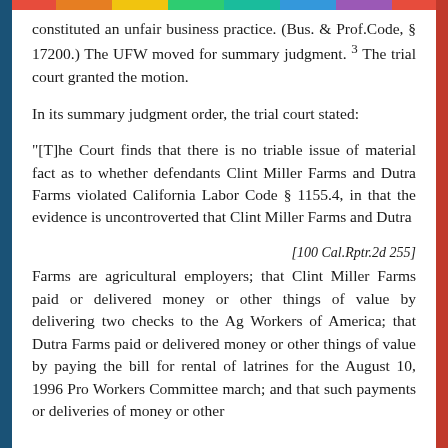constituted an unfair business practice. (Bus. & Prof.Code, § 17200.) The UFW moved for summary judgment. 3 The trial court granted the motion.
In its summary judgment order, the trial court stated:
"[T]he Court finds that there is no triable issue of material fact as to whether defendants Clint Miller Farms and Dutra Farms violated California Labor Code § 1155.4, in that the evidence is uncontroverted that Clint Miller Farms and Dutra
[100 Cal.Rptr.2d 255]
Farms are agricultural employers; that Clint Miller Farms paid or delivered money or other things of value by delivering two checks to the Ag Workers of America; that Dutra Farms paid or delivered money or other things of value by paying the bill for rental of latrines for the August 10, 1996 Pro Workers Committee march; and that such payments or deliveries of money or other